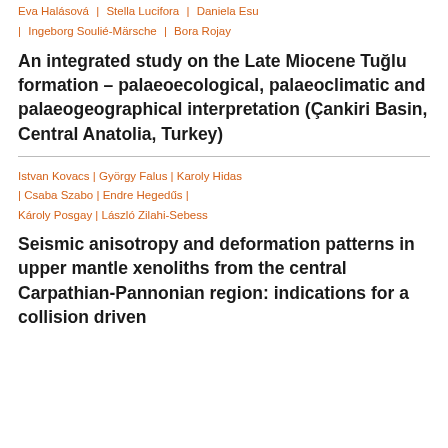Eva Halásová | Stella Lucifora | Daniela Esu | Ingeborg Soulié-Märsche | Bora Rojay
An integrated study on the Late Miocene Tuğlu formation – palaeoecological, palaeoclimatic and palaeogeographical interpretation (Çankiri Basin, Central Anatolia, Turkey)
Istvan Kovacs | György Falus | Karoly Hidas | Csaba Szabo | Endre Hegedűs | Károly Posgay | László Zilahi-Sebess
Seismic anisotropy and deformation patterns in upper mantle xenoliths from the central Carpathian-Pannonian region: indications for a collision driven